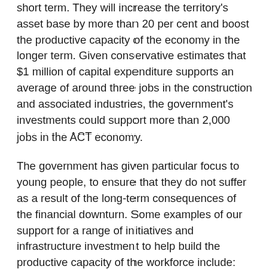short term. They will increase the territory's asset base by more than 20 per cent and boost the productive capacity of the economy in the longer term. Given conservative estimates that $1 million of capital expenditure supports an average of around three jobs in the construction and associated industries, the government's investments could support more than 2,000 jobs in the ACT economy.
The government has given particular focus to young people, to ensure that they do not suffer as a result of the long-term consequences of the financial downturn. Some examples of our support for a range of initiatives and infrastructure investment to help build the productive capacity of the workforce include: the delivery of up to 10,000 additional training places for existing workers and job seekers, through the COAG productivity places program; the expansion of the CIT scholarship program, helping around 1,000 students per annum with materials and fees in courses in areas of skill shortage, at a cost of